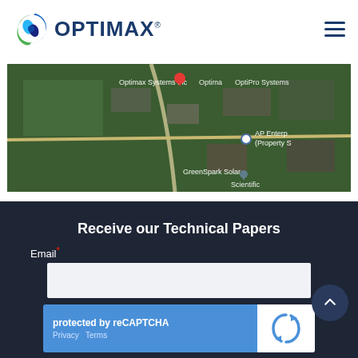[Figure (logo): Optimax logo with circular blue and green swirl icon and OPTIMAX text in dark blue]
[Figure (map): Aerial Google Maps satellite view showing Optimax Systems Inc location with surrounding businesses including AP Enterprises, GreenSpark Solar, and Scientific labels]
Receive our Technical Papers
Email *
protected by reCAPTCHA Privacy  Terms